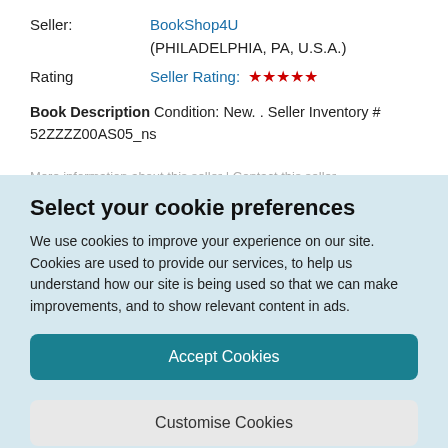Seller: BookShop4U (PHILADELPHIA, PA, U.S.A.)
Rating Seller Rating: ★★★★★
Book Description Condition: New. . Seller Inventory # 52ZZZZ00AS05_ns
More information about this seller | Contact this seller
Select your cookie preferences
We use cookies to improve your experience on our site. Cookies are used to provide our services, to help us understand how our site is being used so that we can make improvements, and to show relevant content in ads.
Accept Cookies
Customise Cookies